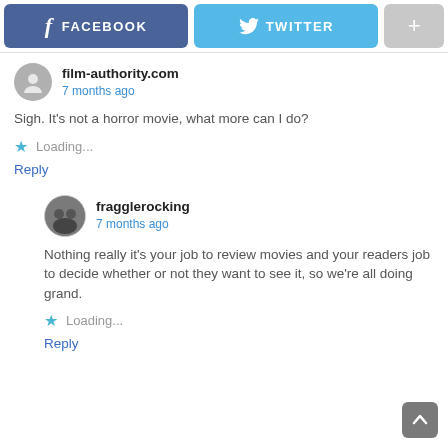[Figure (screenshot): Social share buttons: Facebook (blue), Twitter (cyan), and a plus/more button (gray)]
film-authority.com
7 months ago
Sigh. It's not a horror movie, what more can I do?
Loading...
Reply
fragglerocking
7 months ago
Nothing really it's your job to review movies and your readers job to decide whether or not they want to see it, so we're all doing grand.
Loading...
Reply